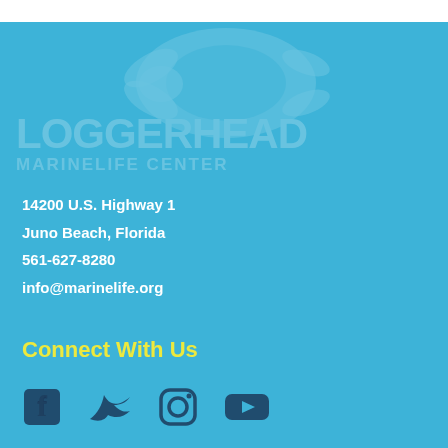[Figure (logo): Loggerhead Marinelife Center logo watermark (faded) in upper portion of blue background]
14200 U.S. Highway 1
Juno Beach, Florida
561-627-8280
info@marinelife.org
Connect With Us
[Figure (infographic): Social media icons: Facebook, Twitter, Instagram, YouTube]